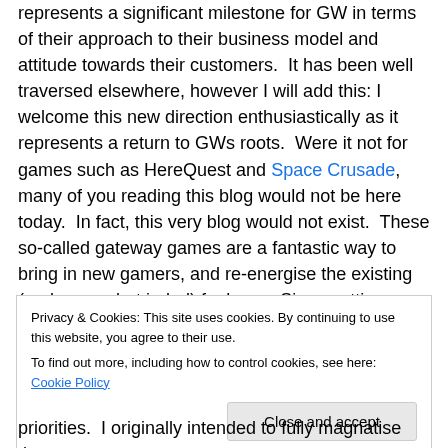represents a significant milestone for GW in terms of their approach to their business model and attitude towards their customers.  It has been well traversed elsewhere, however I will add this: I welcome this new direction enthusiastically as it represents a return to GWs roots.  Were it not for games such as HereQuest and Space Crusade, many of you reading this blog would not be here today.  In fact, this very blog would not exist.  These so-called gateway games are a fantastic way to bring in new gamers, and re-energise the existing (and somewhat jaded) fanbase.  Since getting my copy of BaC I have had
Privacy & Cookies: This site uses cookies. By continuing to use this website, you agree to their use. To find out more, including how to control cookies, see here: Cookie Policy
priorities.  I originally intended to fully magnatise the